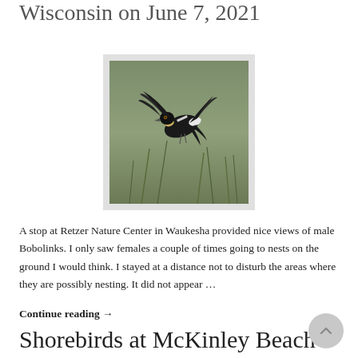Wisconsin on June 7, 2021
[Figure (photo): A black and white bobolink bird in flight against a blurred green grassy background]
A stop at Retzer Nature Center in Waukesha provided nice views of male Bobolinks. I only saw females a couple of times going to nests on the ground I would think. I stayed at a distance not to disturb the areas where they are possibly nesting. It did not appear …
Continue reading →
Shorebirds at McKinley Beach in